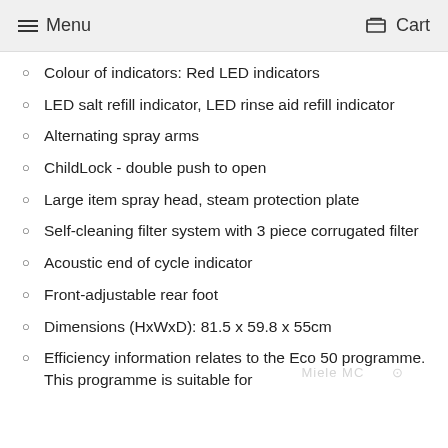Menu | Cart
Colour of indicators: Red LED indicators
LED salt refill indicator, LED rinse aid refill indicator
Alternating spray arms
ChildLock - double push to open
Large item spray head, steam protection plate
Self-cleaning filter system with 3 piece corrugated filter
Acoustic end of cycle indicator
Front-adjustable rear foot
Dimensions (HxWxD): 81.5 x 59.8 x 55cm
Efficiency information relates to the Eco 50 programme. This programme is suitable for